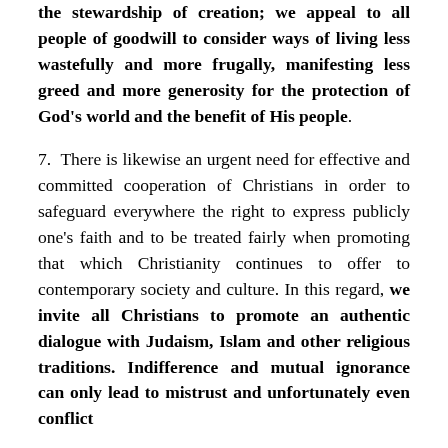the stewardship of creation; we appeal to all people of goodwill to consider ways of living less wastefully and more frugally, manifesting less greed and more generosity for the protection of God's world and the benefit of His people.
7.  There is likewise an urgent need for effective and committed cooperation of Christians in order to safeguard everywhere the right to express publicly one's faith and to be treated fairly when promoting that which Christianity continues to offer to contemporary society and culture. In this regard, we invite all Christians to promote an authentic dialogue with Judaism, Islam and other religious traditions. Indifference and mutual ignorance can only lead to mistrust and unfortunately even conflict...